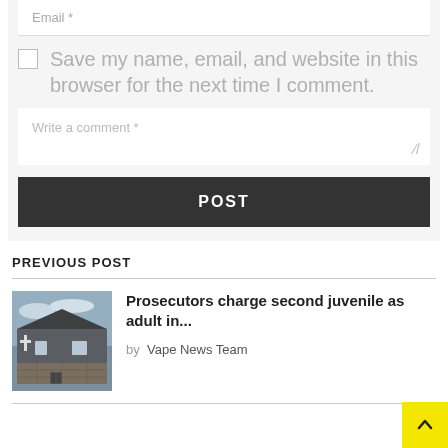Email *
Save my name, email, and website in this browser for the next time I comment.
Write a comment *
POST
PREVIOUS POST
[Figure (photo): Exterior photo of a building with a cross, dark siding, and stone facade under a cloudy sky]
Prosecutors charge second juvenile as adult in...
by Vape News Team